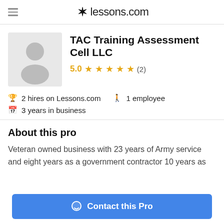lessons.com
TAC Training Assessment Cell LLC
5.0 ★★★★★ (2)
2 hires on Lessons.com   1 employee   3 years in business
About this pro
Veteran owned business with 23 years of Army service and eight years as a government contractor 10 years as
Contact this Pro